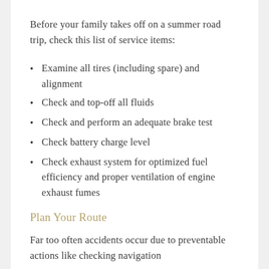Before your family takes off on a summer road trip, check this list of service items:
Examine all tires (including spare) and alignment
Check and top-off all fluids
Check and perform an adequate brake test
Check battery charge level
Check exhaust system for optimized fuel efficiency and proper ventilation of engine exhaust fumes
Plan Your Route
Far too often accidents occur due to preventable actions like checking navigation on a mobile phone screen. Before this...